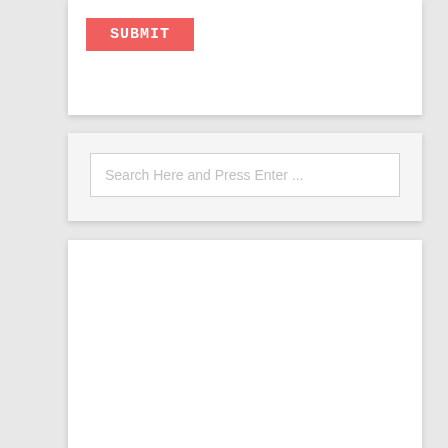[Figure (screenshot): Partial UI card showing a red SUBMIT button with white bold text in monospace font]
[Figure (screenshot): UI search card with a light gray background containing a search input field with placeholder text 'Search Here and Press Enter ...']
[Figure (screenshot): Large empty white UI card with drop shadow, no visible content]